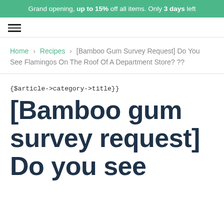Grand opening, up to 15% off all items. Only 3 days left
[Figure (other): Hamburger menu icon (three horizontal lines)]
Home › Recipes › [Bamboo Gum Survey Request] Do You See Flamingos On The Roof Of A Department Store? ??
{$article->category->title}}
[Bamboo gum survey request] Do you see